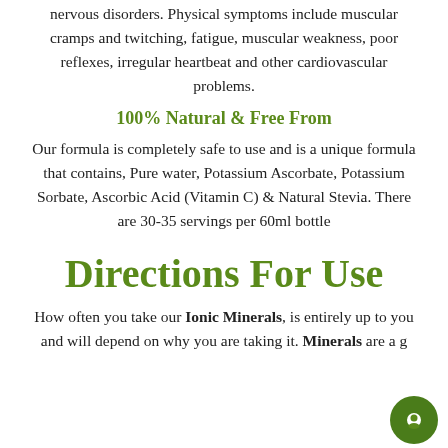nervous disorders. Physical symptoms include muscular cramps and twitching, fatigue, muscular weakness, poor reflexes, irregular heartbeat and other cardiovascular problems.
100% Natural & Free From
Our formula is completely safe to use and is a unique formula that contains, Pure water, Potassium Ascorbate, Potassium Sorbate, Ascorbic Acid (Vitamin C) & Natural Stevia. There are 30-35 servings per 60ml bottle
Directions For Use
How often you take our Ionic Minerals, is entirely up to you and will depend on why you are taking it. Minerals are a g...